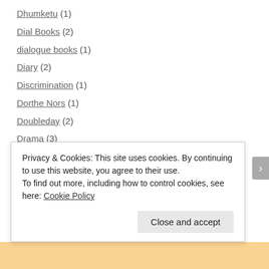Dhumketu (1)
Dial Books (2)
dialogue books (1)
Diary (2)
Discrimination (1)
Dorthe Nors (1)
Doubleday (2)
Drama (3)
Drawn and Quarterly (11)
Dutton Books (1)
Dysfunctionality (11)
Dystopian Fiction (2)
Privacy & Cookies: This site uses cookies. By continuing to use this website, you agree to their use. To find out more, including how to control cookies, see here: Cookie Policy